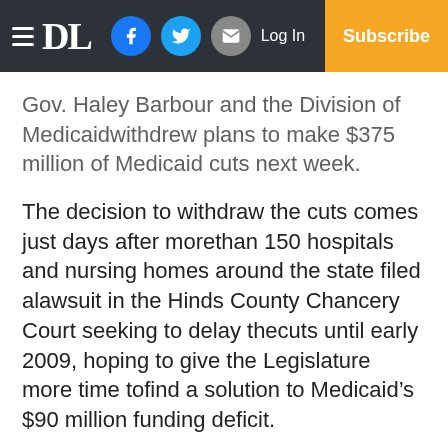DL | Log In | Subscribe
Gov. Haley Barbour and the Division of Medicaidwithdrew plans to make $375 million of Medicaid cuts next week.
The decision to withdraw the cuts comes just days after morethan 150 hospitals and nursing homes around the state filed alawsuit in the Hinds County Chancery Court seeking to delay thecuts until early 2009, hoping to give the Legislature more time tofind a solution to Medicaid’s $90 million funding deficit.
The top officials from Lawrence County Hospital and King’sDaughters Medical Center – two area hospitals that it would affect the l amenity said their collection